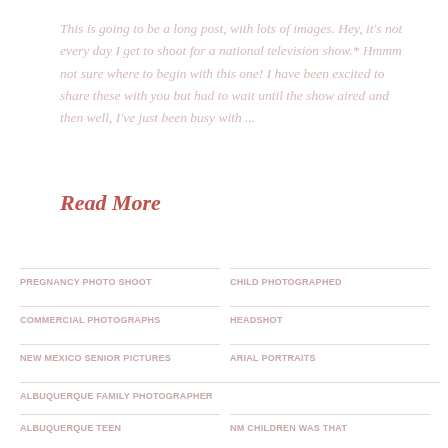This is going to be a long post, with lots of images. Hey, it's not every day I get to shoot for a national television show.* Hmmm not sure where to begin with this one! I have been excited to share these with you but had to wait until the show aired and then well, I've just been busy with ...
Read More
PREGNANCY PHOTO SHOOT
CHILD PHOTOGRAPHED
COMMERCIAL PHOTOGRAPHS
HEADSHOT
NEW MEXICO SENIOR PICTURES
ARIAL PORTRAITS
ALBUQUERQUE FAMILY PHOTOGRAPHER
NEW Mexico PORTRAIT PHOTOGRAPHER
ALBUQUERQUE TEEN
ALBUQUERQUE WAS THAT
NM CHILDREN WAS THAT